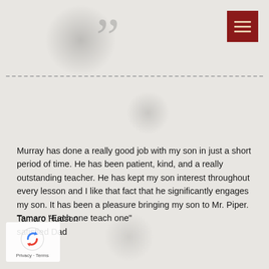[Figure (other): Large decorative closing quotation marks in gray, decorative element at top of testimonial]
[Figure (other): Dark red/maroon hamburger menu button with three horizontal lines, positioned top right]
Murray has done a really good job with my son in just a short period of time. He has been patient, kind, and a really outstanding teacher. He has kept my son interest throughout every lesson and I like that fact that he significantly engages my son. It has been a pleasure bringing my son to Mr. Piper. Tamaro "Each one teach one"
Tamaro Hudson
satisfied Dad
[Figure (logo): Google reCAPTCHA logo with Privacy and Terms links at bottom left]